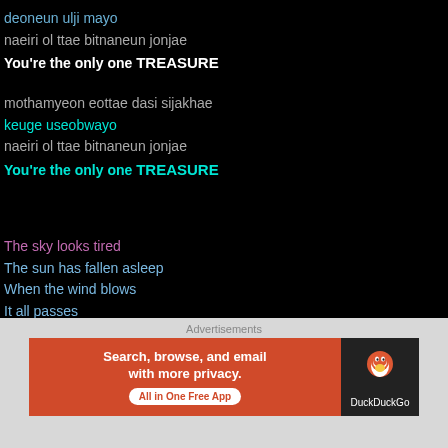deoneun ulji mayo
naeiri ol ttae bitnaneun jonjae
You're the only one TREASURE
mothamyeon eottae dasi sijakhae
keuge useobwayo
naeiri ol ttae bitnaneun jonjae
You're the only one TREASURE
The sky looks tired
The sun has fallen asleep
When the wind blows
It all passes
As if I've woken up from a dream
It all feels new
It's alright, everything will be good
Advertisements
[Figure (screenshot): DuckDuckGo advertisement banner: orange left section with text 'Search, browse, and email with more privacy. All in One Free App', and black right section with DuckDuckGo logo and duck icon.]